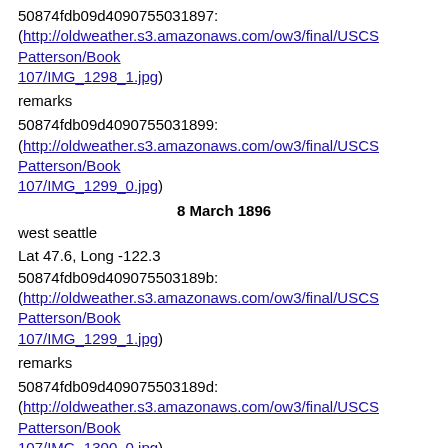50874fdb09d4090755031897: (http://oldweather.s3.amazonaws.com/ow3/final/USCS Patterson/Book 107/IMG_1298_1.jpg)
remarks
50874fdb09d4090755031899: (http://oldweather.s3.amazonaws.com/ow3/final/USCS Patterson/Book 107/IMG_1299_0.jpg)
8 March 1896
west seattle
Lat 47.6, Long -122.3
50874fdb09d409075503189b: (http://oldweather.s3.amazonaws.com/ow3/final/USCS Patterson/Book 107/IMG_1299_1.jpg)
remarks
50874fdb09d409075503189d: (http://oldweather.s3.amazonaws.com/ow3/final/USCS Patterson/Book 107/IMG_1300_0.jpg)
8 March 1896
west seattle
Lat 47.6, Long -122.3
50874fdb09d409075503189f: